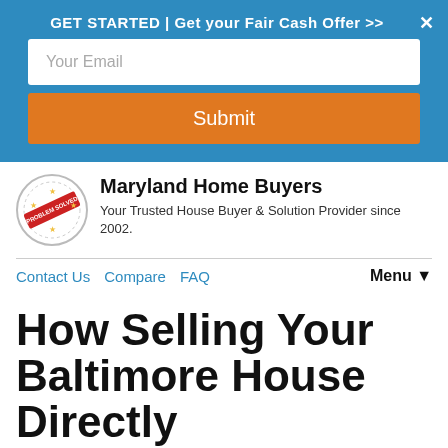GET STARTED | Get your Fair Cash Offer >>
[Figure (screenshot): Email input field with placeholder text 'Your Email']
[Figure (screenshot): Orange Submit button]
[Figure (logo): Maryland Home Buyers circular stamp logo with red accent]
Maryland Home Buyers
Your Trusted House Buyer & Solution Provider since 2002.
Contact Us   Compare   FAQ
Menu ▼
How Selling Your Baltimore House Directly
Call Us! (410) 657-2523